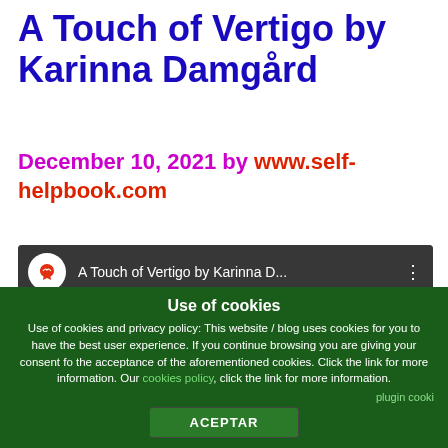A Touch of Vertigo by Karinna Damgård
December 10, 2021 by www.self-helpbook.com
[Figure (screenshot): YouTube-style video thumbnail showing 'A Touch of Vertigo by Karinna D...' with channel icon (red lotus flower on white circle) and three-dot menu, over a dark blurred background image.]
Use of cookies
Use of cookies and privacy policy: This website / blog uses cookies for you to have the best user experience. If you continue browsing you are giving your consent for the acceptance of the aforementioned cookies. Click the link for more information. Our cookies policy, click the link for more information.